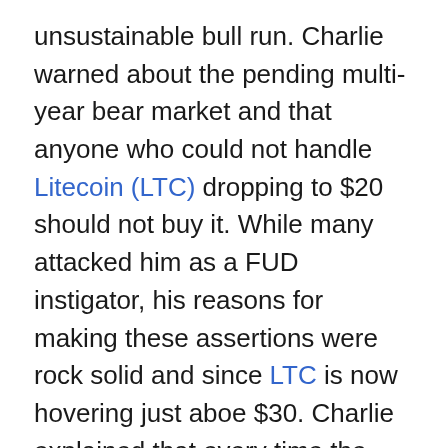unsustainable bull run. Charlie warned about the pending multi-year bear market and that anyone who could not handle Litecoin (LTC) dropping to $20 should not buy it. While many attacked him as a FUD instigator, his reasons for making these assertions were rock solid and since LTC is now hovering just aboe $30. Charlie explained that every time the crypto market rises up too fast, it overshoots its real value, which leads to a huge correction, and a price consolidation. Charlie’s predictions have come true.
Charlie is not active in LTC for quite some time – it has been years since he contributed to the development of the once second largest